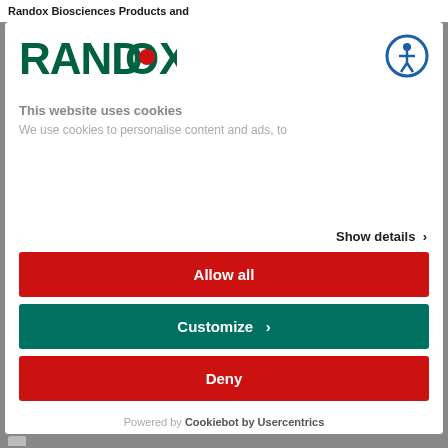Randox Biosciences Products and
[Figure (logo): Randox logo: green bold text RANDOX with red circle dot above the O]
[Figure (illustration): Accessibility icon: person figure in circle with blue border]
This website uses cookies
We use cookies to personalise content and ads, to
Show details >
Allow all
Customize >
Deny
Powered by Cookiebot by Usercentrics